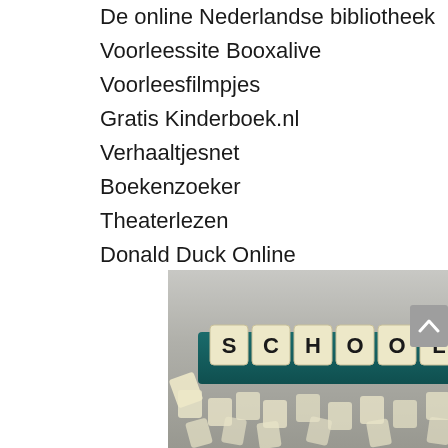De online Nederlandse bibliotheek
Voorleessite Booxalive
Voorleesfilmpjes
Gratis Kinderboek.nl
Verhaaltjesnet
Boekenzoeker
Theaterlezen
Donald Duck Online
[Figure (photo): Scrabble tiles spelling SCHOOL in a teal tile holder, surrounded by scattered letter tiles on a blurred background]